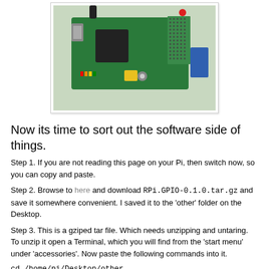[Figure (photo): Photograph of a Raspberry Pi single-board computer with a green prototyping/expansion board attached, a red LED, and a yellow component visible.]
Now its time to sort out the software side of things.
Step 1. If you are not reading this page on your Pi, then switch now, so you can copy and paste.
Step 2. Browse to here and download RPi.GPIO-0.1.0.tar.gz and save it somewhere convenient. I saved it to the 'other' folder on the Desktop.
Step 3. This is a gziped tar file. Which needs unzipping and untaring. To unzip it open a Terminal, which you will find from the 'start menu' under 'accessories'. Now paste the following commands into it.
cd /home/pi/Desktop/other
gunzip FPi.GPIO-0.1.0.tar.gz
tar - xvf FPi.GPIO-0.1.0.tar